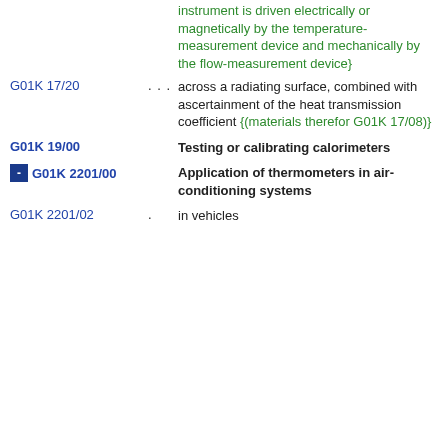instrument is driven electrically or magnetically by the temperature-measurement device and mechanically by the flow-measurement device}
G01K 17/20 . . . across a radiating surface, combined with ascertainment of the heat transmission coefficient {(materials therefor G01K 17/08)}
G01K 19/00 Testing or calibrating calorimeters
G01K 2201/00 Application of thermometers in air-conditioning systems
G01K 2201/02 . in vehicles